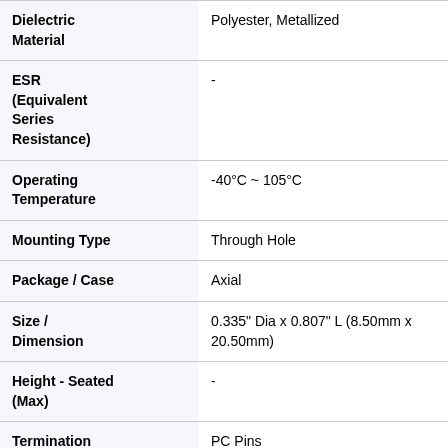| Property | Value |
| --- | --- |
| Dielectric Material | Polyester, Metallized |
| ESR (Equivalent Series Resistance) | - |
| Operating Temperature | -40°C ~ 105°C |
| Mounting Type | Through Hole |
| Package / Case | Axial |
| Size / Dimension | 0.335" Dia x 0.807" L (8.50mm x 20.50mm) |
| Height - Seated (Max) | - |
| Termination | PC Pins |